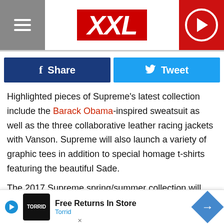XXL
Share | Tweet
Highlighted pieces of Supreme's latest collection include the Barack Obama-inspired sweatsuit as well as the three collaborative leather racing jackets with Vanson. Supreme will also launch a variety of graphic tees in addition to special homage t-shirts featuring the beautiful Sade.

The 2017 Supreme spring/summer collection will drop in different deliveries, with the first batch of clothing items releasing this Thurs., Feb. 16, at Supreme flagship stores in New York, Los Angeles, London and Paris. Look for Japan to also release items of the spring/summer collection, starting this Sa…
[Figure (screenshot): Torrid advertisement banner: Free Returns In Store - Torrid]